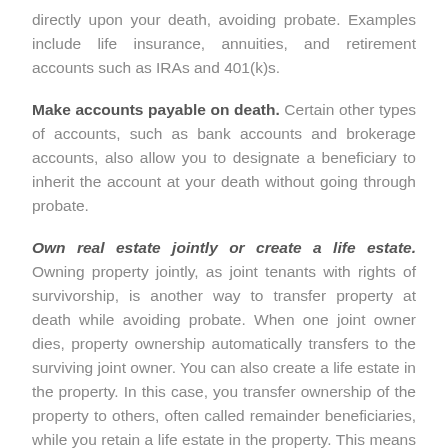directly upon your death, avoiding probate. Examples include life insurance, annuities, and retirement accounts such as IRAs and 401(k)s.
Make accounts payable on death. Certain other types of accounts, such as bank accounts and brokerage accounts, also allow you to designate a beneficiary to inherit the account at your death without going through probate.
Own real estate jointly or create a life estate. Owning property jointly, as joint tenants with rights of survivorship, is another way to transfer property at death while avoiding probate. When one joint owner dies, property ownership automatically transfers to the surviving joint owner. You can also create a life estate in the property. In this case, you transfer ownership of the property to others, often called remainder beneficiaries, while you retain a life estate in the property. This means you have the right to use and control the property during your lifetime. Upon